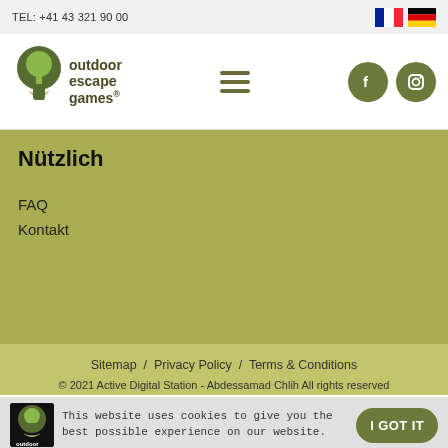TEL: +41 43 321 90 00
[Figure (logo): Outdoor Escape Games logo with keyhole and tree illustration]
Nützlich
FAQ
Kontakt
Sitemap / Privacy Policy / Terms & Conditions
© 2021 Active Digital Station - Abdessamad Chlih All rights reserved
This website uses cookies to give you the best possible experience on our website.